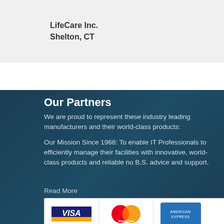LifeCare Inc.
Shelton, CT
Our Partners
We are proud to represent these industry leading manufacturers and their world-class products:
Our Mission Since 1968: To enable IT Professionals to efficiently manage their facilities with innovative, world-class products and reliable no B.S. advice and support.
Read More
[Figure (logo): Payment logos: Visa, MasterCard, American Express]
[Figure (logo): Partner logos: AVTECH, VERTIV, GREAT LAKES Case & Cabinet]